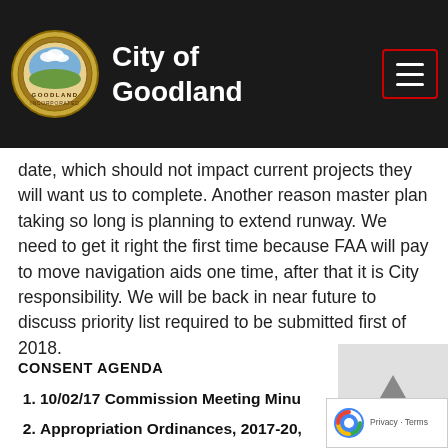City of Goodland
date, which should not impact current projects they will want us to complete. Another reason master plan taking so long is planning to extend runway. We need to get it right the first time because FAA will pay to move navigation aids one time, after that it is City responsibility. We will be back in near future to discuss priority list required to be submitted first of 2018.
CONSENT AGENDA
10/02/17 Commission Meeting Minu…
Appropriation Ordinances, 2017-20,